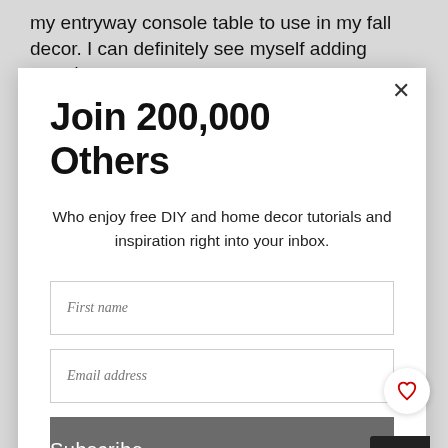my entryway console table to use in my fall decor. I can definitely see myself adding round
Join 200,000 Others
Who enjoy free DIY and home decor tutorials and inspiration right into your inbox.
First name
Email address
Subscribe